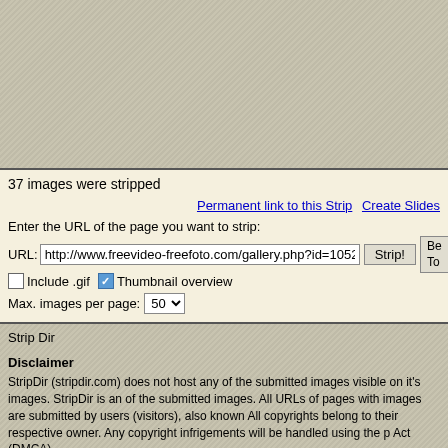[Figure (screenshot): Gray textured/hatched background top area]
37 images were stripped
Permanent link to this Strip   Create Slides
Enter the URL of the page you want to strip:
URL: http://www.freevideo-freefoto.com/gallery.php?id=1052  Strip!  Be To
Include .gif   Thumbnail overview
Max. images per page: 50
Strip Dir
Disclaimer
StripDir (stripdir.com) does not host any of the submitted images visible on it's images. StripDir is an of the submitted images. All URLs of pages with images are submitted by users (visitors), also known All copyrights belong to their respective owner. Any copyright infrigements will be handled using the p Act (DMCA).
Please use the link "Request this Strip to be deleted", at the top and bottom of every page, to reques
StripDir is looking for a new owner
For inquiry, please use the email address listed in the FAQ.